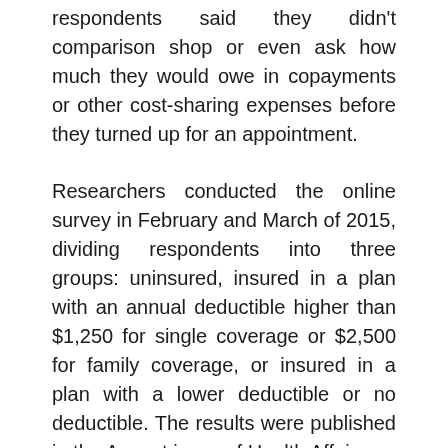respondents said they didn't comparison shop or even ask how much they would owe in copayments or other cost-sharing expenses before they turned up for an appointment.
Researchers conducted the online survey in February and March of 2015, dividing respondents into three groups: uninsured, insured in a plan with an annual deductible higher than $1,250 for single coverage or $2,500 for family coverage, or insured in a plan with a lower deductible or no deductible. The results were published in the August issue of Health Affairs.
Three-quarters of the study participants said they did not know of any resource that would allow them to compare costs, while half said that if a website showing